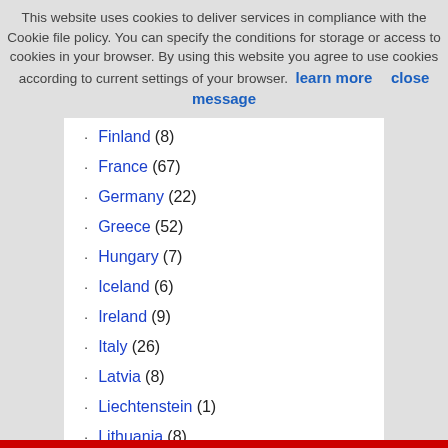This website uses cookies to deliver services in compliance with the Cookie file policy. You can specify the conditions for storage or access to cookies in your browser. By using this website you agree to use cookies according to current settings of your browser. learn more    close message
Finland (8)
France (67)
Germany (22)
Greece (52)
Hungary (7)
Iceland (6)
Ireland (9)
Italy (26)
Latvia (8)
Liechtenstein (1)
Lithuania (8)
Luxembourg (2)
Malta (7)
Moldova (1)
Monaco (1)